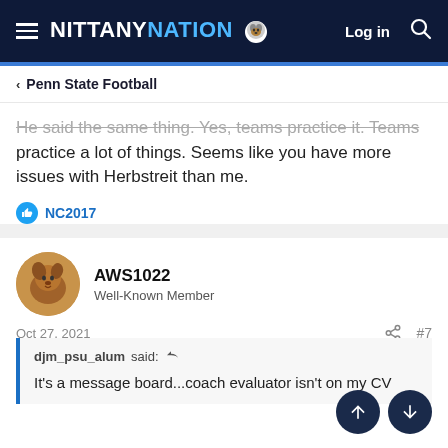NITTANY NATION
Penn State Football
He said the same thing. Yes, teams practice it. Teams practice a lot of things. Seems like you have more issues with Herbstreit than me.
NC2017
AWS1022
Well-Known Member
Oct 27, 2021
#7
djm_psu_alum said:
It's a message board...coach evaluator isn't on my CV